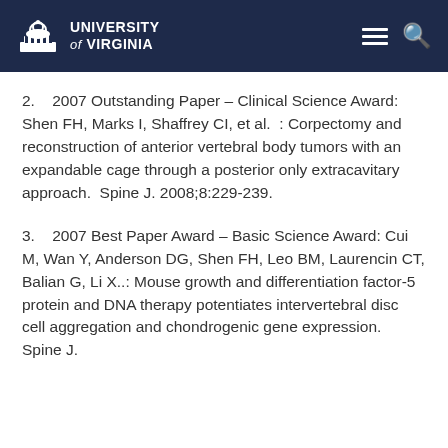University of Virginia
2.    2007 Outstanding Paper – Clinical Science Award:  Shen FH, Marks I, Shaffrey CI, et al.  :  Corpectomy and reconstruction of anterior vertebral body tumors with an expandable cage through a posterior only extracavitary approach.  Spine J. 2008;8:229-239.
3.    2007 Best Paper Award – Basic Science Award:  Cui M, Wan Y, Anderson DG, Shen FH, Leo BM, Laurencin CT, Balian G, Li X..: Mouse growth and differentiation factor-5 protein and DNA therapy potentiates intervertebral disc cell aggregation and chondrogenic gene expression.  Spine J.